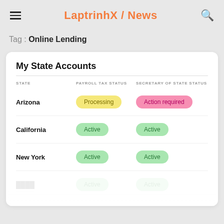LaptrinhX / News
Tag : Online Lending
My State Accounts
| STATE | PAYROLL TAX STATUS | SECRETARY OF STATE STATUS |
| --- | --- | --- |
| Arizona | Processing | Action required |
| California | Active | Active |
| New York | Active | Active |